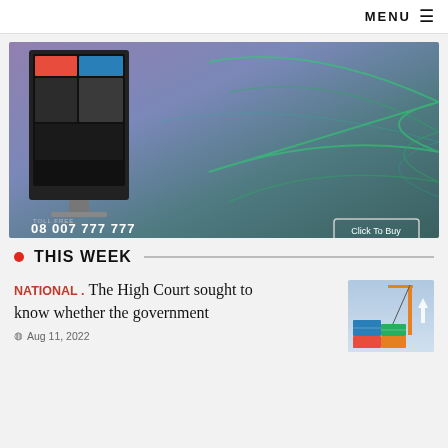MENU ≡
[Figure (photo): Advertisement image showing a smart TV on purple background with green wave design. Text reads: TOLL FREE 08 007 777 777, Click To Buy]
THIS WEEK
NATIONAL . The High Court sought to know whether the government
Aug 11, 2022
[Figure (photo): Thumbnail image of shipping containers with crane]